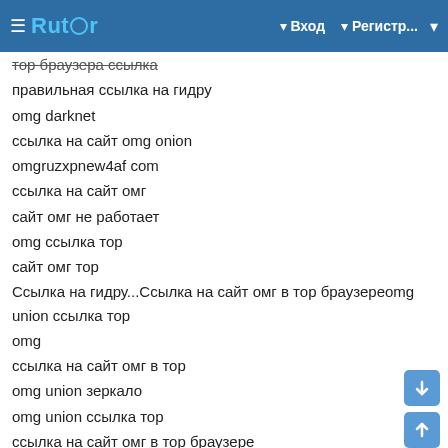Rutor — Вход — Регистр...
тор браузера ссылка
правильная ссылка на гидру
omg darknet
ссылка на сайт omg onion
omgruzxpnew4af com
ссылка на сайт омг
сайт омг не работает
omg ссылка тор
сайт омг тор
Ссылка на гидру...Ссылка на сайт омг в тор браузереomg union ссылка тор
omg
ссылка на сайт омг в тор
omg union зеркало
omg union ссылка тор
ссылка на сайт омг в тор браузере
omg darknet
сайт омг на торе ссылка
union омг сайт
Ссылка на гидру...omg darknetсайт омг на торе ссылка